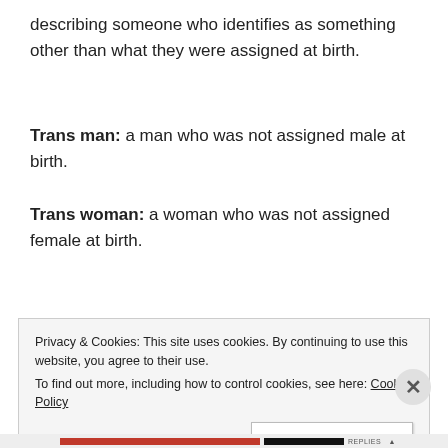describing someone who identifies as something other than what they were assigned at birth.
Trans man: a man who was not assigned male at birth.
Trans woman: a woman who was not assigned female at birth.
Privacy & Cookies: This site uses cookies. By continuing to use this website, you agree to their use. To find out more, including how to control cookies, see here: Cookie Policy Close and accept